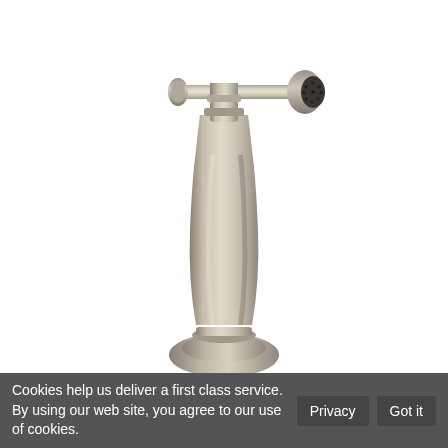[Figure (photo): A brushed nickel kitchen faucet side spray / sprayer head shown on a white background. The sprayer has a cylindrical handle with a tapered shape and a horizontal spray head attachment at the top with a visible spray nozzle on the right end.]
Cookies help us deliver a first class service. By using our web site, you agree to our use of cookies.  Privacy  Got it